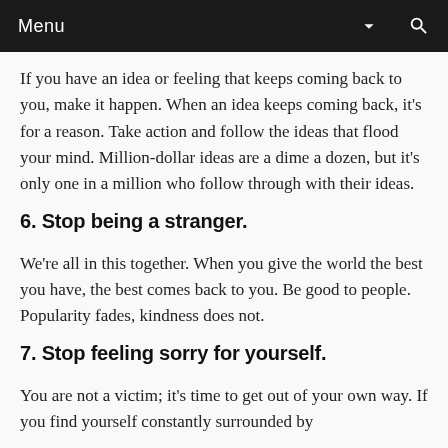Menu
If you have an idea or feeling that keeps coming back to you, make it happen. When an idea keeps coming back, it's for a reason. Take action and follow the ideas that flood your mind. Million-dollar ideas are a dime a dozen, but it's only one in a million who follow through with their ideas.
6. Stop being a stranger.
We're all in this together. When you give the world the best you have, the best comes back to you. Be good to people. Popularity fades, kindness does not.
7. Stop feeling sorry for yourself.
You are not a victim; it's time to get out of your own way. If you find yourself constantly surrounded by